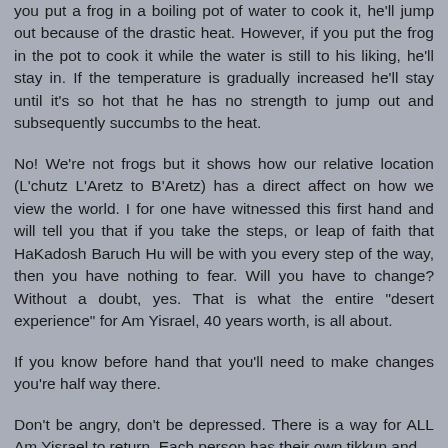you put a frog in a boiling pot of water to cook it, he'll jump out because of the drastic heat. However, if you put the frog in the pot to cook it while the water is still to his liking, he'll stay in. If the temperature is gradually increased he'll stay until it's so hot that he has no strength to jump out and subsequently succumbs to the heat.
No! We're not frogs but it shows how our relative location (L'chutz L'Aretz to B'Aretz) has a direct affect on how we view the world. I for one have witnessed this first hand and will tell you that if you take the steps, or leap of faith that HaKadosh Baruch Hu will be with you every step of the way, then you have nothing to fear. Will you have to change? Without a doubt, yes. That is what the entire "desert experience" for Am Yisrael, 40 years worth, is all about.
If you know before hand that you'll need to make changes you're half way there.
Don't be angry, don't be depressed. There is a way for ALL Am Yisrael to return. Each person has their own tikkun and